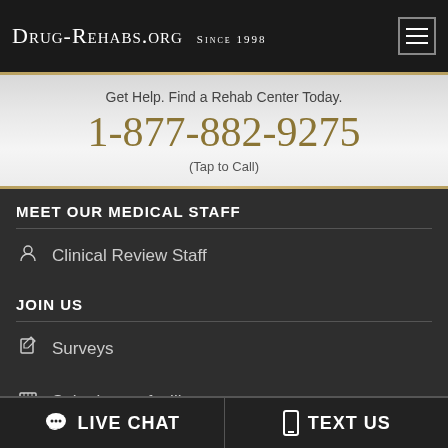Drug-Rehabs.org Since 1998
Get Help. Find a Rehab Center Today.
1-877-882-9275
(Tap to Call)
MEET OUR MEDICAL STAFF
Clinical Review Staff
JOIN US
Surveys
Submit your facility
GENERAL DISCLAIMER: The main purpose of Drug-Rehabs.org is to provide educational services. As such, it is not meant to provide any medical advice. You should, therefore, not use any of the
LIVE CHAT   TEXT US